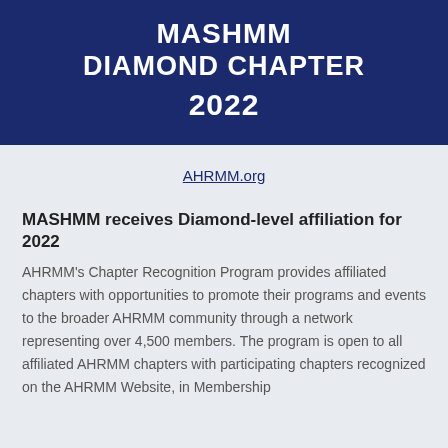MASHMM DIAMOND CHAPTER 2022
AHRMM.org
MASHMM receives Diamond-level affiliation for 2022
AHRMM's Chapter Recognition Program provides affiliated chapters with opportunities to promote their programs and events to the broader AHRMM community through a network representing over 4,500 members. The program is open to all affiliated AHRMM chapters with participating chapters recognized on the AHRMM Website, in Membership